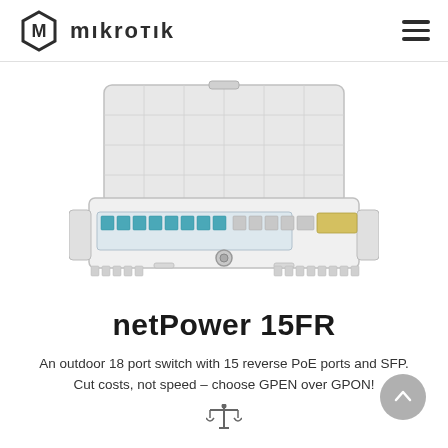[Figure (logo): MikroTik logo: hexagonal icon with M letter and wordmark 'mikrotik' in bold dark text]
[Figure (photo): MikroTik netPower 15FR outdoor switch product photo showing an open white enclosure with 15 reverse PoE Ethernet ports with teal-colored ports, SFP ports, mounted on a panel with ventilation grilles]
netPower 15FR
An outdoor 18 port switch with 15 reverse PoE ports and SFP. Cut costs, not speed – choose GPEN over GPON!
[Figure (illustration): Small balance/compare scales icon]